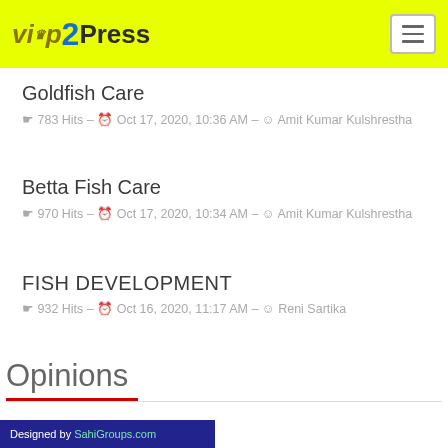VIP2Press
Goldfish Care
783 Hits – Oct 17, 2020, 10:36 AM – Amit Kumar Kulshrestha
Betta Fish Care
970 Hits – Oct 17, 2020, 10:34 AM – Amit Kumar Kulshrestha
FISH DEVELOPMENT
932 Hits – Oct 16, 2020, 11:17 AM – Reni Sartika
Opinions
Designed by SahiGroups.com